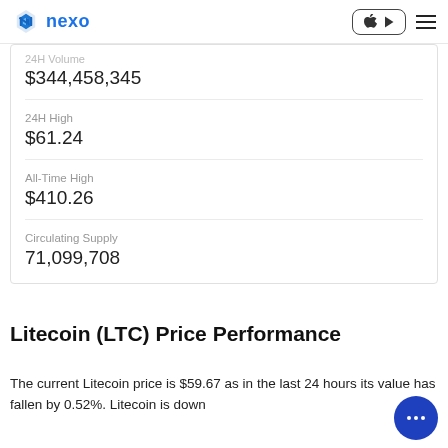nexo
24H Volume
$344,458,345
24H High
$61.24
All-Time High
$410.26
Circulating Supply
71,099,708
Litecoin (LTC) Price Performance
The current Litecoin price is $59.67 as in the last 24 hours its value has fallen by 0.52%. Litecoin is down